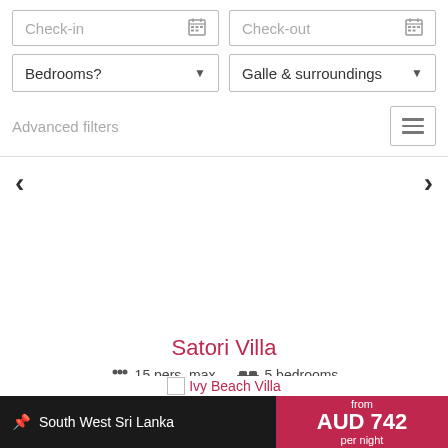[Figure (screenshot): Web booking interface showing Check-in, Check-out date pickers, Bedrooms dropdown, Galle & surroundings location dropdown, Advanced filters section with hamburger icon, navigation arrows, villa listing for Satori Villa with 15 pers. max. and 5 bedrooms, More details button, South West Sri Lanka location bar with AUD 742 per night price, and Ivy Beach Villa listing below.]